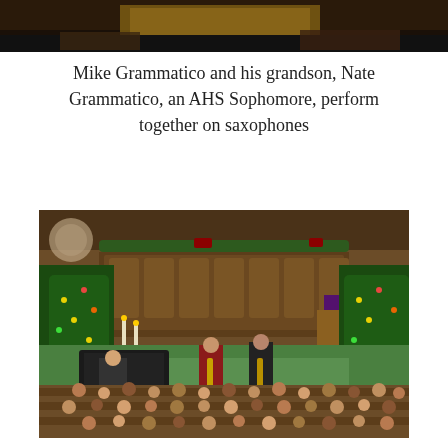[Figure (photo): Partial view of a photo at top of page, dark image showing what appears to be an instrument or stage setting]
Mike Grammatico and his grandson, Nate Grammatico, an AHS Sophomore, perform together on saxophones
[Figure (photo): Photo of a church interior decorated for Christmas with two Christmas trees on either side of the altar. Three performers are visible at the front — a pianist on the left and two saxophone players in the center. An audience is seated in the pews in the foreground.]